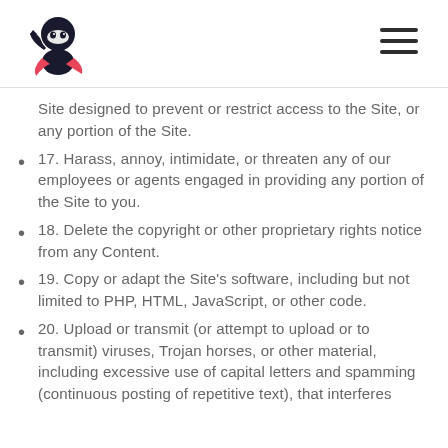[Figure (logo): Ninja mascot logo - black cartoon ninja figure with pink scarf]
Site designed to prevent or restrict access to the Site, or any portion of the Site.
17. Harass, annoy, intimidate, or threaten any of our employees or agents engaged in providing any portion of the Site to you.
18. Delete the copyright or other proprietary rights notice from any Content.
19. Copy or adapt the Site's software, including but not limited to PHP, HTML, JavaScript, or other code.
20. Upload or transmit (or attempt to upload or to transmit) viruses, Trojan horses, or other material, including excessive use of capital letters and spamming (continuous posting of repetitive text), that interferes